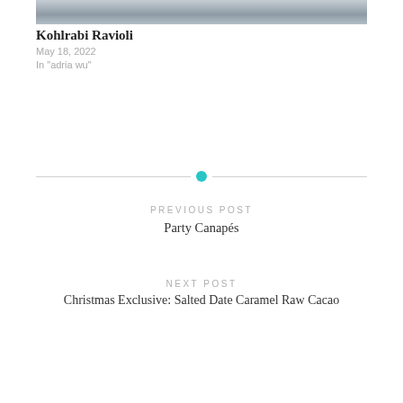[Figure (photo): Partial view of a table setting with a white plate and blue-striped cloth napkin, cropped at top of page]
Kohlrabi Ravioli
May 18, 2022
In "adria wu"
PREVIOUS POST
Party Canapés
NEXT POST
Christmas Exclusive: Salted Date Caramel Raw Cacao